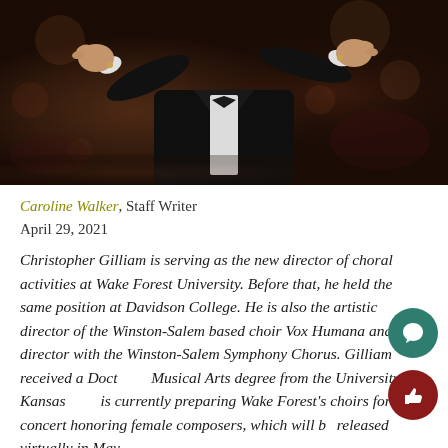[Figure (photo): A conductor in a dark suit with white shirt and cufflinks, arms raised in conducting gesture, photographed against a dark background with bokeh lighting.]
Caroline Walker, Staff Writer
April 29, 2021
Christopher Gilliam is serving as the new director of choral activities at Wake Forest University. Before that, he held the same position at Davidson College. He is also the artistic director of the Winston-Salem based choir Vox Humana and a director with the Winston-Salem Symphony Chorus. Gilliam received a Doctor of Musical Arts degree from the University of Kansas and is currently preparing Wake Forest's choirs for a concert honoring female composers, which will be released virtually in May.